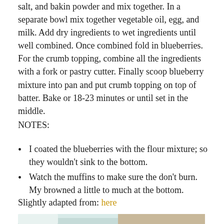salt, and bakin powder and mix together. In a separate bowl mix together vegetable oil, egg, and milk. Add dry ingredients to wet ingredients until well combined. Once combined fold in blueberries. For the crumb topping, combine all the ingredients with a fork or pastry cutter. Finally scoop blueberry mixture into pan and put crumb topping on top of batter. Bake or 18-23 minutes or until set in the middle.
NOTES:
I coated the blueberries with the flour mixture; so they wouldn't sink to the bottom.
Watch the muffins to make sure the don't burn. My browned a little to much at the bottom.
Slightly adapted from: here
[Figure (photo): Partial photo of a plate or bowl with blueberry muffins and crumb topping, showing a teal/white dish edge at the bottom of the page]